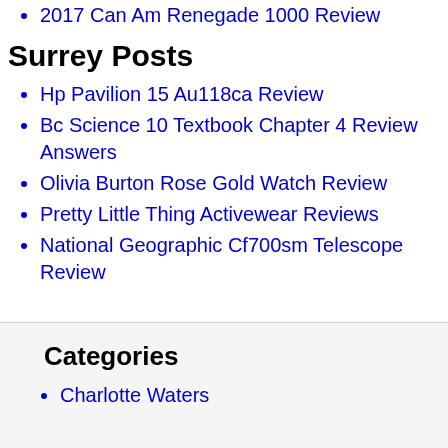2017 Can Am Renegade 1000 Review
Surrey Posts
Hp Pavilion 15 Au118ca Review
Bc Science 10 Textbook Chapter 4 Review Answers
Olivia Burton Rose Gold Watch Review
Pretty Little Thing Activewear Reviews
National Geographic Cf700sm Telescope Review
Categories
Charlotte Waters